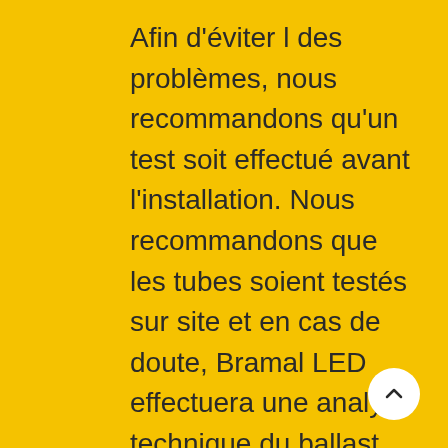Afin d'éviter l des problèmes, nous recommandons qu'un test soit effectué avant l'installation. Nous recommandons que les tubes soient testés sur site et en cas de doute, Bramal LED effectuera une analyse technique du ballast installé tel que fourni par le client pour vérifier sa compatibilité. Dans les circonstances limitées où un ballast pour dépasse les spécifications de Bramal LED, nous